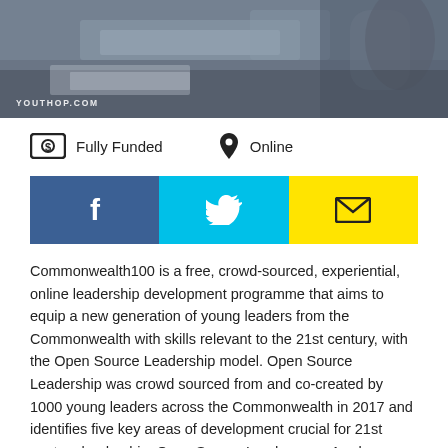[Figure (photo): Top banner photo showing a blurred desk/office scene with YOUTHOP.COM watermark in the lower left.]
Fully Funded
Online
[Figure (infographic): Three social sharing buttons side by side: Facebook (blue, f icon), Twitter (cyan, bird icon), Email (yellow, envelope icon).]
Commonwealth100 is a free, crowd-sourced, experiential, online leadership development programme that aims to equip a new generation of young leaders from the Commonwealth with skills relevant to the 21st century, with the Open Source Leadership model. Open Source Leadership was crowd sourced from and co-created by 1000 young leaders across the Commonwealth in 2017 and identifies five key areas of development crucial for 21st century leadership. Open Source Leaders are: Awake...